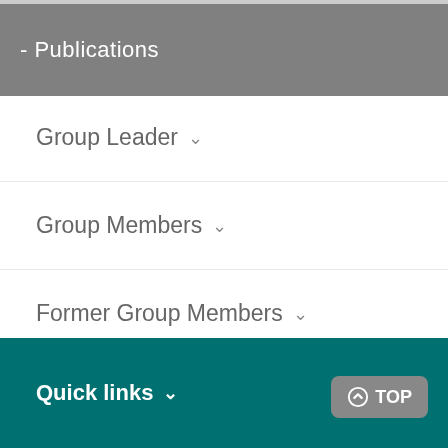- Publications
Group Leader
Group Members
Former Group Members
Publication highlights
Quick links